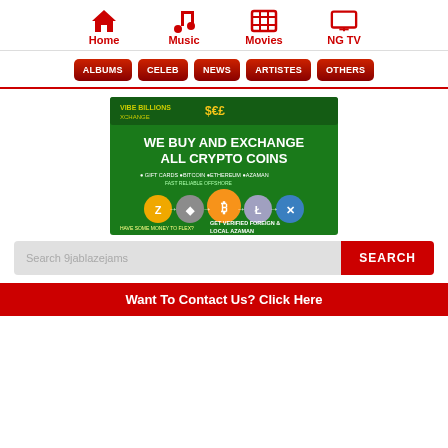Home | Music | Movies | NG TV
ALBUMS
CELEB
NEWS
ARTISTES
OTHERS
[Figure (photo): Vibe Billions Xchange advertisement banner: green background, text 'WE BUY AND EXCHANGE ALL CRYPTO COINS', showing gift cards, bitcoin, ethereum, azaman, with crypto coin images]
Search 9jablazejams
SEARCH
Want To Contact Us? Click Here